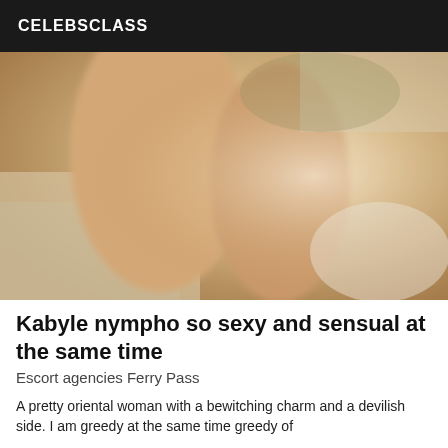CELEBSCLASS
[Figure (photo): Close-up photo showing legs/feet on fabric background, blurry and warm-toned]
Kabyle nympho so sexy and sensual at the same time
Escort agencies Ferry Pass
A pretty oriental woman with a bewitching charm and a devilish side. I am greedy at the same time greedy of